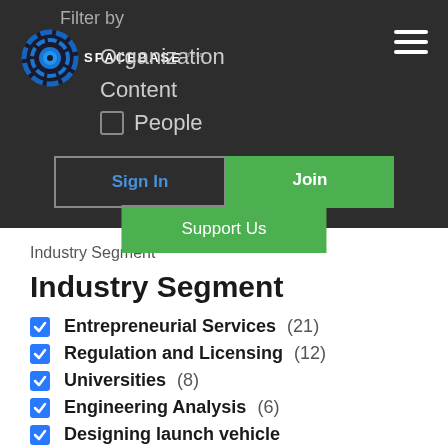Filter by
[Figure (logo): Spacebase logo with circular gear/ring emblem and SPACEBASE beta text]
Organization
Content
People
Support Us
Sign In
Join
Industry Segment
Industry Segment
Entrepreneurial Services (21)
Regulation and Licensing (12)
Universities (8)
Engineering Analysis (6)
Designing launch vehicle